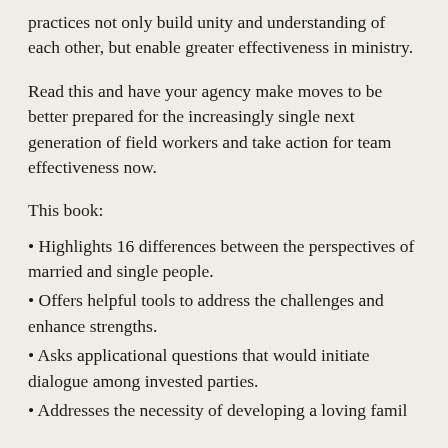practices not only build unity and understanding of each other, but enable greater effectiveness in ministry.
Read this and have your agency make moves to be better prepared for the increasingly single next generation of field workers and take action for team effectiveness now.
This book:
Highlights 16 differences between the perspectives of married and single people.
Offers helpful tools to address the challenges and enhance strengths.
Asks applicational questions that would initiate dialogue among invested parties.
Addresses the necessity of developing a loving family...